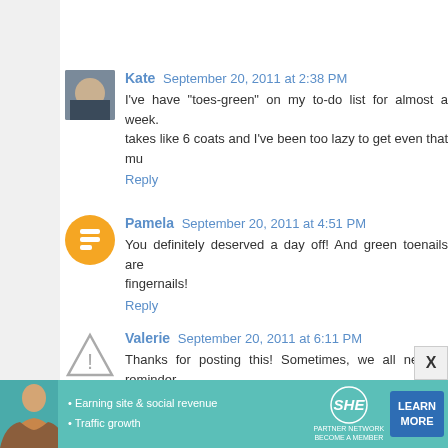Kate  September 20, 2011 at 2:38 PM
I've have "toes-green" on my to-do list for almost a week. takes like 6 coats and I've been too lazy to get even that mu
Reply
Pamela  September 20, 2011 at 4:51 PM
You definitely deserved a day off! And green toenails are fingernails!
Reply
Valerie  September 20, 2011 at 6:11 PM
Thanks for posting this! Sometimes, we all need a reminder
I'm in my last semester of graduate school and there's *SO
So I'm right there with you and appreciate the reminder with
And the toes look awesome! :)
[Figure (infographic): SHE Partner Network advertisement banner with learn more button]